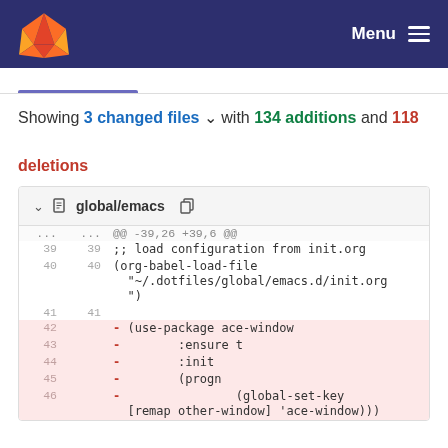GitLab Menu
Showing 3 changed files with 134 additions and 118 deletions
global/emacs diff showing lines 39-46: ;; load configuration from init.org, (org-babel-load-file "~/.dotfiles/global/emacs.d/init.org"), deleted lines: (use-package ace-window :ensure t :init (progn (global-set-key [remap other-window] 'ace-window)))